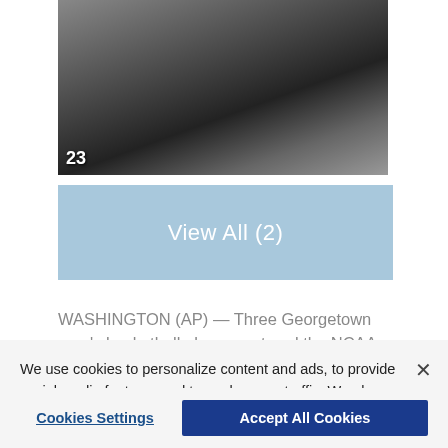[Figure (photo): Basketball action photo showing players including number 23 in a game]
View All (2)
WASHINGTON (AP) — Three Georgetown men's basketball players entered the NCAA transfer portal on Wednesday, the latest in a series of members of coach Patrick Ewing's team to leave the Hoyas.
The school announced the departures of Timothy
We use cookies to personalize content and ads, to provide social media features and to analyze our traffic. We also share information about your use of our site with our social media, advertising and analytics partners. Privacy Policy
Cookies Settings
Accept All Cookies